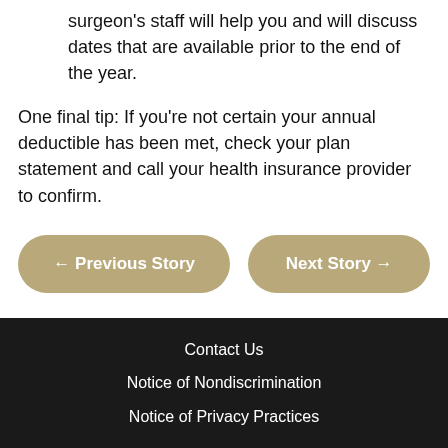surgeon's staff will help you and will discuss dates that are available prior to the end of the year.
One final tip: If you're not certain your annual deductible has been met, check your plan statement and call your health insurance provider to confirm.
← Previous Story
Next Story →
Contact Us
Notice of Nondiscrimination
Notice of Privacy Practices